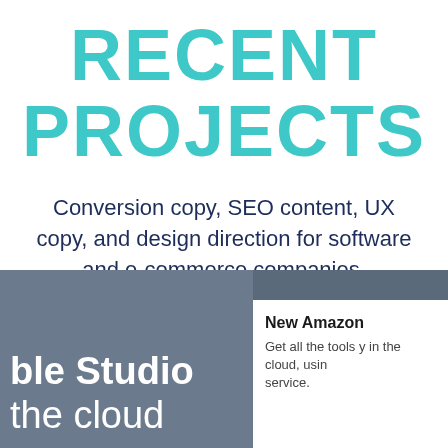RECENT PROJECTS
Conversion copy, SEO content, UX copy, and design direction for software and e-commerce companies.
[Figure (screenshot): Screenshot of a software interface showing 'ble Studio' and 'the cloud' text on a dark grey background on the left, and a white panel on the right with heading 'New Amazon' and body text 'Get all the tools y in the cloud, using service.']